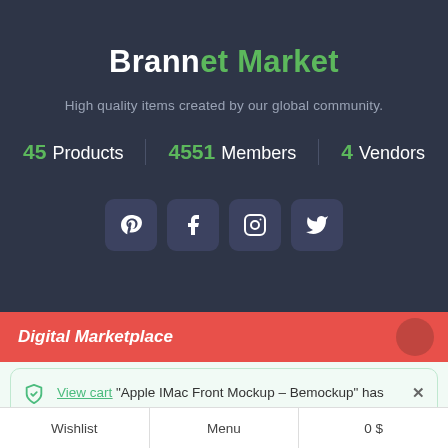Brannet Market
High quality items created by our global community.
45 Products | 4551 Members | 4 Vendors
[Figure (other): Social media icon buttons: Pinterest, Facebook, Instagram, Twitter]
Digital Marketplace
View cart "Apple IMac Front Mockup – Bemockup" has been added to your cart.
Wishlist | Menu | 0 $